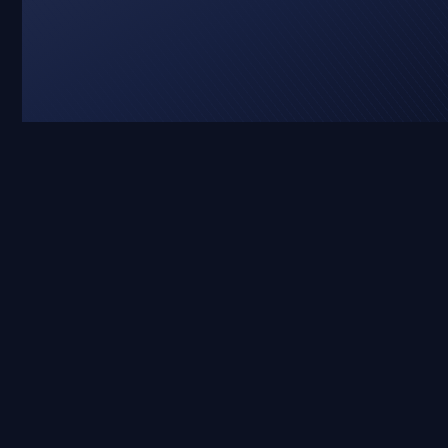[Figure (photo): Partially visible product image in top-left, dark blue background, music merchandise store layout]
[COMBO LP + TS]  29.95 €
[T-SHIRT]  14...
[Figure (photo): Black album cover image for RIBSPREADER product]
RIBSPREADER
Suicide Gate - A Bridge to Death
[12" LP]  11.95 €
[Figure (photo): Black album cover image for HANDLE WITH... product (partially cropped)]
HANDLE WIT...
Erebus Ri...
[12" LP]  14...